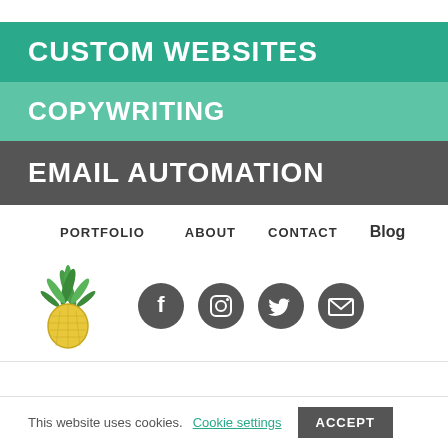CUSTOM WEBSITES
COPYWRITING
EMAIL AUTOMATION
PORTFOLIO
ABOUT
CONTACT
Blog
[Figure (logo): Pineapple logo with green leaves and yellow body]
[Figure (infographic): Social media icons: Facebook, Instagram, Twitter, Email]
This website uses cookies.
Cookie settings
ACCEPT